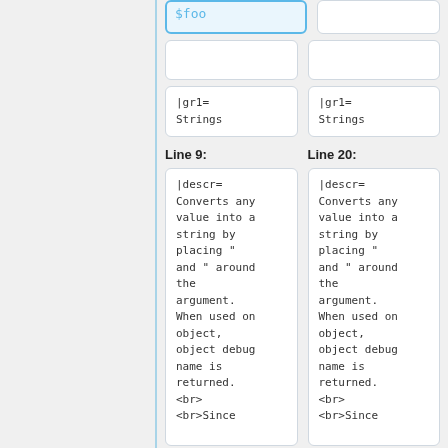$foo (highlighted box top left)
Empty box top right
Empty boxes row 2
|gr1=
Strings
|gr1=
Strings
Line 9:
Line 20:
|descr=
Converts any
value into a
string by
placing "
and " around
the
argument.
When used on
object,
object debug
name is
returned.
<br>
<br>Since
|descr=
Converts any
value into a
string by
placing "
and " around
the
argument.
When used on
object,
object debug
name is
returned.
<br>
<br>Since